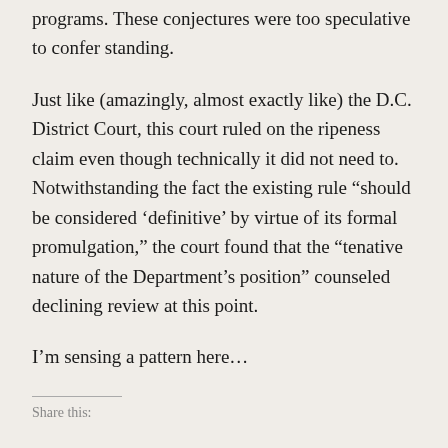programs. These conjectures were too speculative to confer standing.
Just like (amazingly, almost exactly like) the D.C. District Court, this court ruled on the ripeness claim even though technically it did not need to. Notwithstanding the fact the existing rule “should be considered ‘definitive’ by virtue of its formal promulgation,” the court found that the “tenative nature of the Department’s position” counseled declining review at this point.
I’m sensing a pattern here…
Share this: